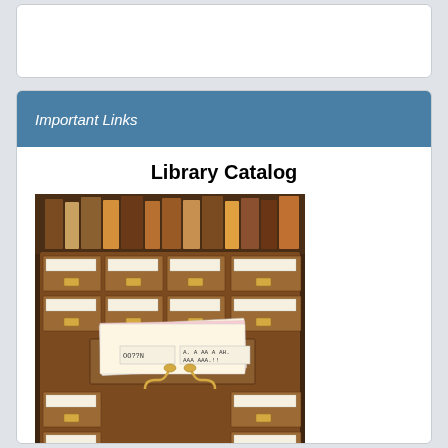Important Links
Library Catalog
[Figure (photo): Photo of wooden library card catalog drawers with brass hardware and index cards]
Children's Catalog
[Figure (screenshot): Screenshot of Betsie Valley District Library Kids' Catalog welcome page with text 'Welcome to the Betsie Valley District Library Kids' Catalog!' and colorful icons]